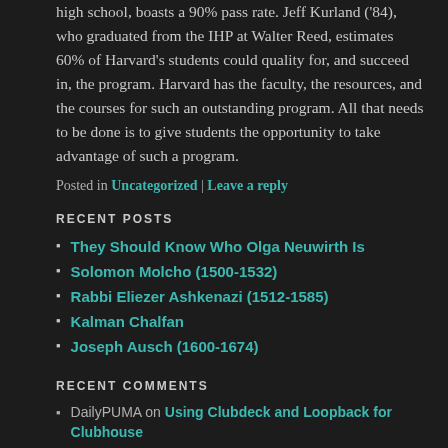high school, boasts a 90% pass rate. Jeff Kurland ('84), who graduated from the IHP at Walter Reed, estimates 60% of Harvard's students could quality for, and succeed in, the program. Harvard has the faculty, the resources, and the courses for such an outstanding program. All that needs to be done is to give students the opportunity to take advantage of such a program.
Posted in Uncategorized | Leave a reply
RECENT POSTS
They Should Know Who Olga Neuwirth Is
Solomon Molcho (1500-1532)
Rabbi Eliezer Ashkenazi (1512-1585)
Kalman Chalfan
Joseph Ausch (1600-1674)
RECENT COMMENTS
DailyPUMA on Using Clubdeck and Loopback for Clubhouse